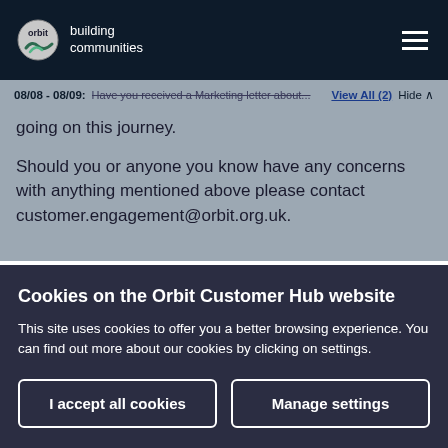orbit building communities
08/08 - 08/09: Have you received a Marketing letter about... View All (2) Hide
going on this journey.
Should you or anyone you know have any concerns with anything mentioned above please contact customer.engagement@orbit.org.uk.
Cookies on the Orbit Customer Hub website
This site uses cookies to offer you a better browsing experience. You can find out more about our cookies by clicking on settings.
I accept all cookies | Manage settings